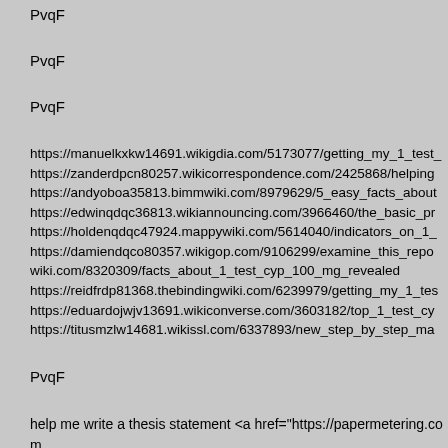PvqF
PvqF
PvqF
https://manuelkxkw14691.wikigdia.com/5173077/getting_my_1_test_
https://zanderdpcn80257.wikicorrespondence.com/2425868/helping
https://andyoboa35813.bimmwiki.com/8979629/5_easy_facts_about
https://edwinqdqc36813.wikiannouncing.com/3966460/the_basic_pr
https://holdenqdqc47924.mappywiki.com/5614040/indicators_on_1_
https://damiendqco80357.wikigop.com/9106299/examine_this_repo
wiki.com/8320309/facts_about_1_test_cyp_100_mg_revealed
https://reidfrdp81368.thebindingwiki.com/6239979/getting_my_1_tes
https://eduardojwjv13691.wikiconverse.com/3603182/top_1_test_cy
https://titusmzlw14681.wikissl.com/6337893/new_step_by_step_ma
PvqF
help me write a thesis statement <a href="https://papermetering.com for me
Footer Powered By